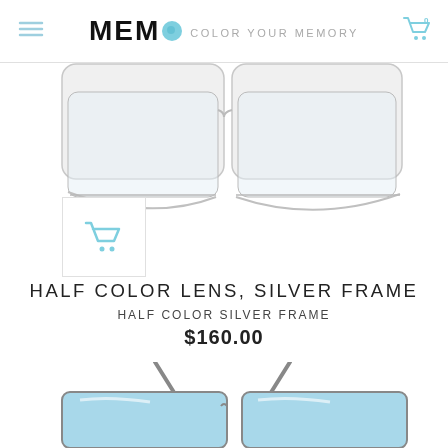MEMO COLOR YOUR MEMORY
[Figure (photo): Close-up of eyeglasses with half color white/silver lens frames, two lenses visible from below, silver metal frame, white lens tops]
[Figure (other): Small shopping cart icon overlay in teal/light blue color on white background with border]
HALF COLOR LENS, SILVER FRAME
HALF COLOR SILVER FRAME
$160.00
[Figure (photo): Bottom portion of blue-tinted eyeglasses with cat-eye or angular frame, silver metal temples visible at top, light blue lenses]